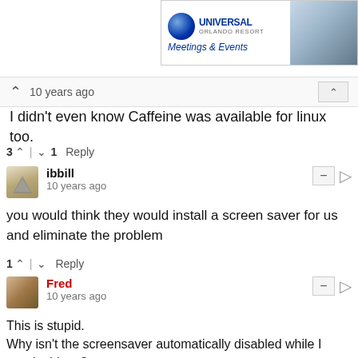[Figure (screenshot): Universal Orlando Resort Meetings & Events advertisement banner with logo and photo of people]
10 years ago
I didn't even know Caffeine was available for linux too.
3 ^ | v 1  Reply
ibbill
10 years ago
you would think they would install a screen saver for us and eliminate the problem
1 ^ | v  Reply
Fred
10 years ago
This is stupid.
Why isn't the screensaver automatically disabled while I watch videos?
This is something that should "just work".